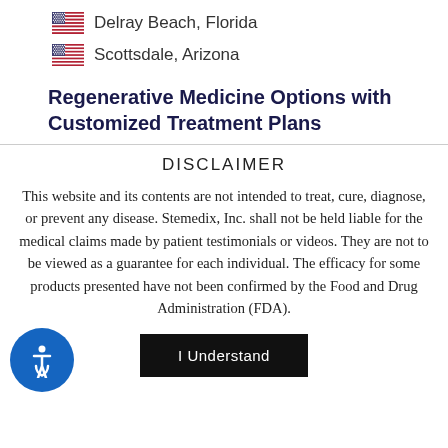🇺🇸 Delray Beach, Florida
🇺🇸 Scottsdale, Arizona
Regenerative Medicine Options with Customized Treatment Plans
DISCLAIMER
This website and its contents are not intended to treat, cure, diagnose, or prevent any disease. Stemedix, Inc. shall not be held liable for the medical claims made by patient testimonials or videos. They are not to be viewed as a guarantee for each individual. The efficacy for some products presented have not been confirmed by the Food and Drug Administration (FDA).
I Understand